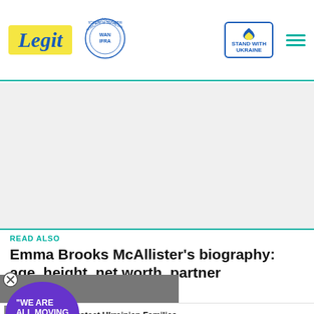Legit — Best News Website in Africa 2021 · WAN IFRA · Stand with Ukraine
[Figure (screenshot): Advertisement banner placeholder (gray background)]
READ ALSO
Emma Brooks McAllister's biography: age, height, net worth, partner
[Figure (photo): Video overlay showing couple with 'We are all moving on' text badge, play button, and red expand arrow]
[Figure (photo): Bottom donation banner: Help Protect Ukrainian Families with DONATE NOW button and Ukrainian flag heart icon]